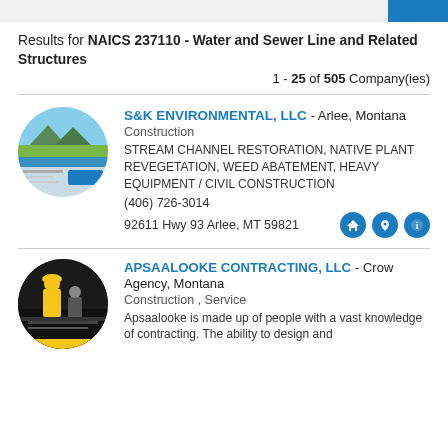Results for NAICS 237110 - Water and Sewer Line and Related Structures
1 - 25 of 505 Company(ies)
S&K ENVIRONMENTAL, LLC - Arlee, Montana
Construction
STREAM CHANNEL RESTORATION, NATIVE PLANT REVEGETATION, WEED ABATEMENT, HEAVY EQUIPMENT / CIVIL CONSTRUCTION
(406) 726-3014
92611 Hwy 93 Arlee, MT 59821
APSAALOOKE CONTRACTING, LLC - Crow Agency, Montana
Construction , Service
Apsaalooke is made up of people with a vast knowledge of contracting. The ability to design and